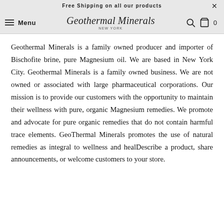Free Shipping on all our products
Menu  [Geothermal Minerals New York logo]  [search icon]  [cart icon] 0
Geothermal Minerals is a family owned producer and importer of Bischofite brine, pure Magnesium oil. We are based in New York City. Geothermal Minerals is a family owned business. We are not owned or associated with large pharmaceutical corporations. Our mission is to provide our customers with the opportunity to maintain their wellness with pure, organic Magnesium remedies. We promote and advocate for pure organic remedies that do not contain harmful trace elements. GeoThermal Minerals promotes the use of natural remedies as integral to wellness and healDescribe a product, share announcements, or welcome customers to your store.